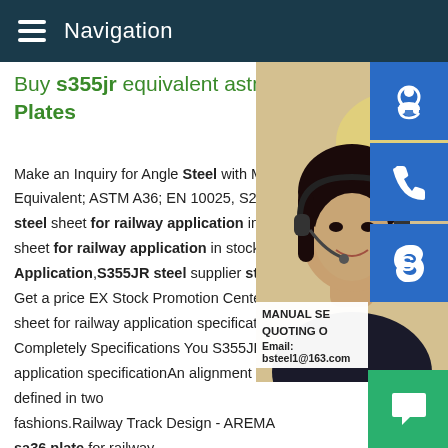Navigation
Buy s355jr equivalent astm - Plates
Make an Inquiry for Angle Steel with Mate Equivalent; ASTM A36; EN 10025, S235JR steel sheet for railway application in sto sheet for railway application in stock S3 Application,S355JR steel supplier steel Get a price EX Stock Promotion Center E sheet for railway application specificationA Completely Specifications You S355JR ste application specificationAn alignment is defined in two fashions.Railway Track Design - AREMA sa36 plate for railway application data sheet China Buy for railway application a36 platform to build dimension for railway application sa36 buil dimension. for railway application sa36 building data sheet Carbon . for railway application sa36 building data sheet, Qu
[Figure (photo): Photo of a woman wearing a headset, with blue customer service icon buttons (headset, phone, Skype) on the right side, and a contact info overlay showing MANUAL SE QUOTING O and Email: bsteel1@163.com, plus a green chat button at bottom right]